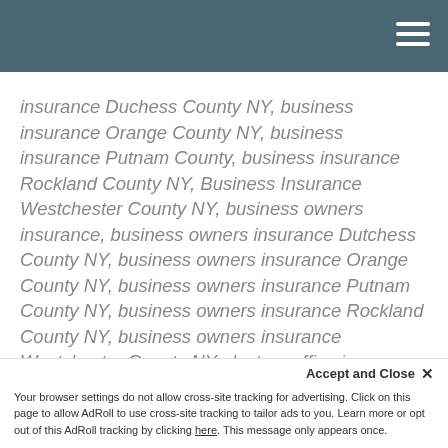insurance Duchess County NY, business insurance Orange County NY, business insurance Putnam County, business insurance Rockland County NY, Business Insurance Westchester County NY, business owners insurance, business owners insurance Dutchess County NY, business owners insurance Orange County NY, business owners insurance Putnam County NY, business owners insurance Rockland County NY, business owners insurance Westchester County NY, doctors office insurance, Doctors Office Insurance Dutchess County NY, doctors office insurance Orange County NY, doctors office insurance Putnam County NY, doctors office insurance Rockland County NY, Doctors Office Insurance Westchester County NY, electrician insurance, electrician insurance Duchess County NY, electrician insurance Orange County NY, electrician i...
Accept and Close ✕
Your browser settings do not allow cross-site tracking for advertising. Click on this page to allow AdRoll to use cross-site tracking to tailor ads to you. Learn more or opt out of this AdRoll tracking by clicking here. This message only appears once.